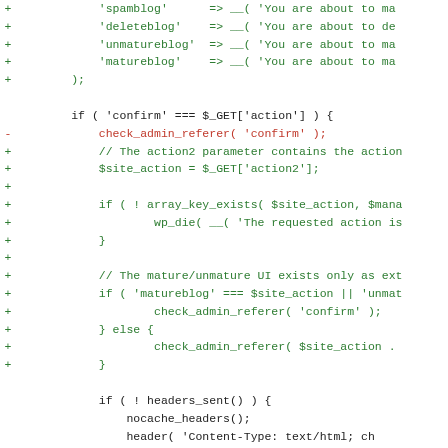[Figure (screenshot): Code diff screenshot showing PHP code changes with green plus lines and red minus lines on a white background. The code is a WordPress admin function handling blog actions like spamblog, deleteblog, unmatureblog, matureblog, with confirm action handling, site_action checks, and header/redirect logic.]